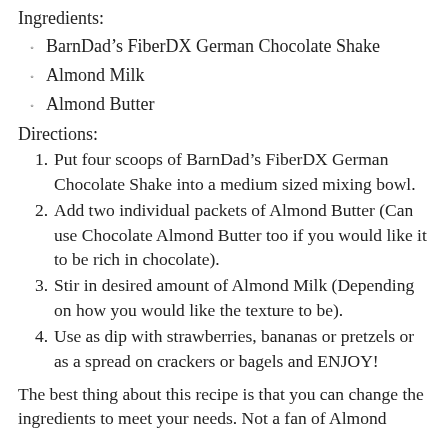Ingredients:
BarnDad’s FiberDX German Chocolate Shake
Almond Milk
Almond Butter
Directions:
Put four scoops of BarnDad’s FiberDX German Chocolate Shake into a medium sized mixing bowl.
Add two individual packets of Almond Butter (Can use Chocolate Almond Butter too if you would like it to be rich in chocolate).
Stir in desired amount of Almond Milk (Depending on how you would like the texture to be).
Use as dip with strawberries, bananas or pretzels or as a spread on crackers or bagels and ENJOY!
The best thing about this recipe is that you can change the ingredients to meet your needs. Not a fan of Almond